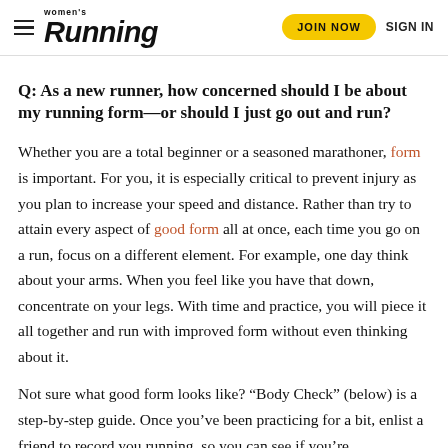women's Running | JOIN NOW | SIGN IN
Q: As a new runner, how concerned should I be about my running form—or should I just go out and run?
Whether you are a total beginner or a seasoned marathoner, form is important. For you, it is especially critical to prevent injury as you plan to increase your speed and distance. Rather than try to attain every aspect of good form all at once, each time you go on a run, focus on a different element. For example, one day think about your arms. When you feel like you have that down, concentrate on your legs. With time and practice, you will piece it all together and run with improved form without even thinking about it.
Not sure what good form looks like? “Body Check” (below) is a step-by-step guide. Once you’ve been practicing for a bit, enlist a friend to record you running, so you can see if you’re